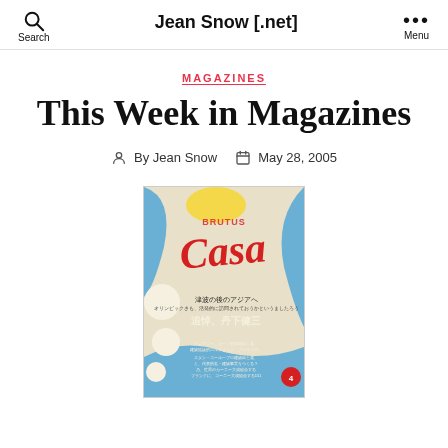Jean Snow [.net]
MAGAZINES
This Week in Magazines
By Jean Snow   May 28, 2005
[Figure (photo): Cover of Casa Brutus magazine featuring Japanese text about Asia after the tsunami and a tribute to Kenzo Tange, with a blue and cream abstract design]